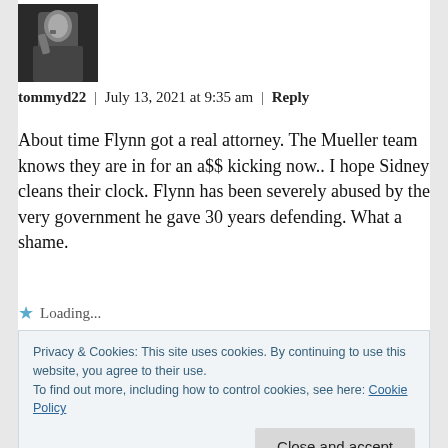[Figure (photo): Black and white photo of a man in a suit holding a phone to his ear]
tommyd22 | July 13, 2021 at 9:35 am | Reply
About time Flynn got a real attorney. The Mueller team knows they are in for an a$$ kicking now.. I hope Sidney cleans their clock. Flynn has been severely abused by the very government he gave 30 years defending. What a shame.
Loading...
Privacy & Cookies: This site uses cookies. By continuing to use this website, you agree to their use.
To find out more, including how to control cookies, see here: Cookie Policy
Close and accept